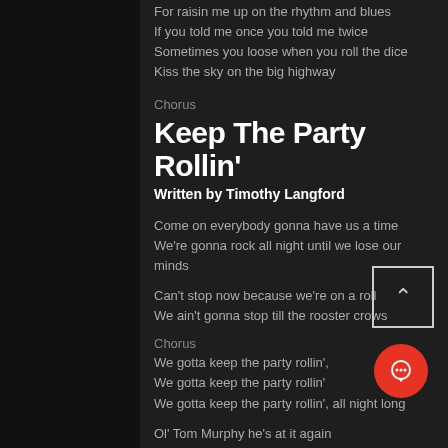For raisin me up on the rhythm and blues
If you told me once you told me twice
Sometimes you loose when you roll the dice
Kiss the sky on the big highway
Chorus
Keep The Party Rollin'
Written by Timothy Langford
Come on everybody gonna have us a time
We're gonna rock all night until we lose our minds
Can't stop now because we're on a roll
We ain't gonna stop till the rooster crows
Chorus
We gotta keep the party rollin',
We gotta keep the party rollin'
We gotta keep the party rollin', all night long
Ol' Tom Murphy he's at it again